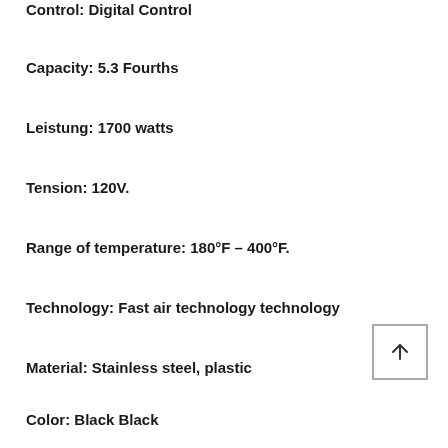Control: Digital Control
Capacity: 5.3 Fourths
Leistung: 1700 watts
Tension: 120V.
Range of temperature: 180°F – 400°F.
Technology: Fast air technology technology
Material: Stainless steel, plastic
Color: Black Black